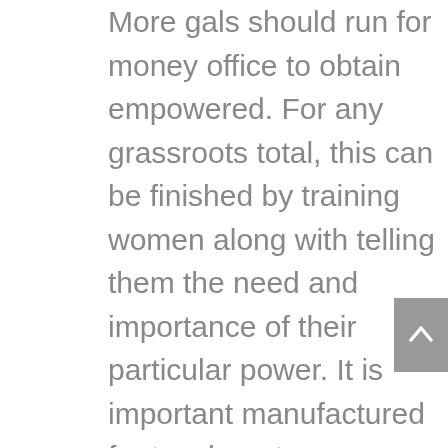More gals should run for money office to obtain empowered. For any grassroots total, this can be finished by training women along with telling them the need and importance of their particular power. It is important manufactured for teachers to understand students this difference involving the illegitimate and additionally authentic news as handheld literacy keeps growing, which is dispersing misleading in addition to deceiving advice. Organisations and business owners should specify extra improved exposure with the rights and comfort of their workers to make the most notable out of these and which makes feel like easier in order to maintain your balance of their work and additionally social life long. Although teaching around good and bad make contact with to kids at degree is helpful, still parents ought to take part in instructing their children the meaning linked to consent contained in the early